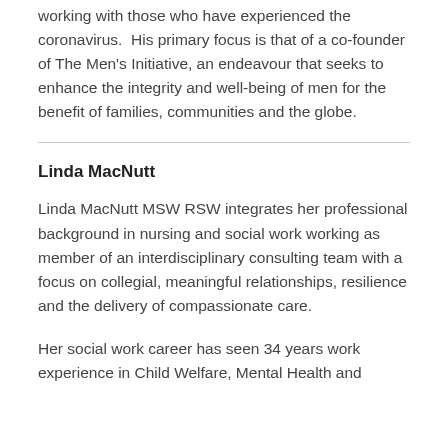working with those who have experienced the coronavirus.  His primary focus is that of a co-founder of The Men's Initiative, an endeavour that seeks to enhance the integrity and well-being of men for the benefit of families, communities and the globe.
Linda MacNutt
Linda MacNutt MSW RSW integrates her professional background in nursing and social work working as member of an interdisciplinary consulting team with a focus on collegial, meaningful relationships, resilience and the delivery of compassionate care.
Her social work career has seen 34 years work experience in Child Welfare, Mental Health and